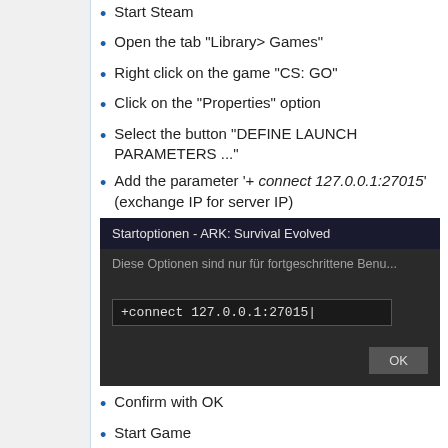Start Steam
Open the tab "Library> Games"
Right click on the game "CS: GO"
Click on the "Properties" option
Select the button "DEFINE LAUNCH PARAMETERS ..."
Add the parameter '+ connect 127.0.0.1:27015' (exchange IP for server IP)
[Figure (screenshot): Steam launch options dialog showing 'Startoptionen - ARK: Survival Evolved' with text field containing '+connect 127.0.0.1:27015' and an OK button]
Confirm with OK
Start Game
The server can then be connected.